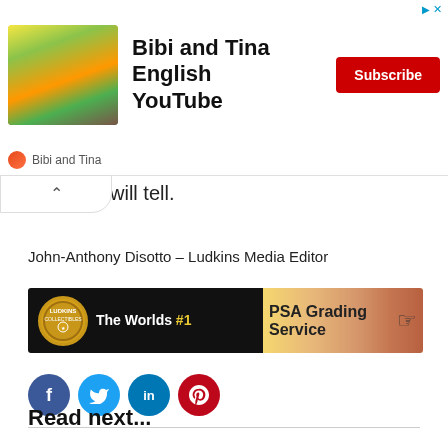[Figure (screenshot): YouTube advertisement banner for 'Bibi and Tina English YouTube' channel with subscribe button]
will tell.
John-Anthony Disotto – Ludkins Media Editor
[Figure (infographic): Ludkins banner: The Worlds #1 PSA Grading Service]
[Figure (infographic): Social media share icons: Facebook, Twitter, LinkedIn, Pinterest]
Read next...